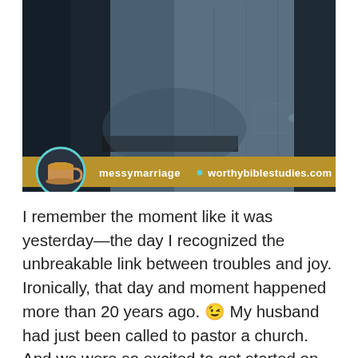[Figure (photo): A photo of two people embracing, one wearing a denim jacket. A coffee cup in a teal circle and a brown banner overlay at the bottom read 'messymarriage • worthybiblestudies.com'.]
I remember the moment like it was yesterday—the day I recognized the unbreakable link between troubles and joy. Ironically, that day and moment happened more than 20 years ago. 😉 My husband had just been called to pastor a church. And we were so excited to get started on that new journey. During those first [...]